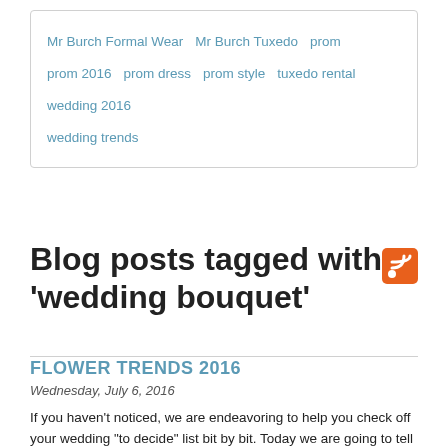Mr Burch Formal Wear   Mr Burch Tuxedo   prom   prom 2016   prom dress   prom style   tuxedo rental   wedding 2016   wedding trends
Blog posts tagged with 'wedding bouquet'
FLOWER TRENDS 2016
Wednesday, July 6, 2016
If you haven't noticed, we are endeavoring to help you check off your wedding “to decide” list bit by bit. Today we are going to tell you about the hottest flower trends for 2016. You may see that some of the trends we have seen for tuxedos, gowns, dresses, and colors have flowed over into flowers. Makes sense, right? Including these trending elements throughout your wedding creates a sense of harmony and ties everything together. Flowers are a great way to showcase the style of your wedding. Not to mention that the bridal bouquet will be front and center for most of the wedding, so you want it to be stunning. All of the styles really bring the